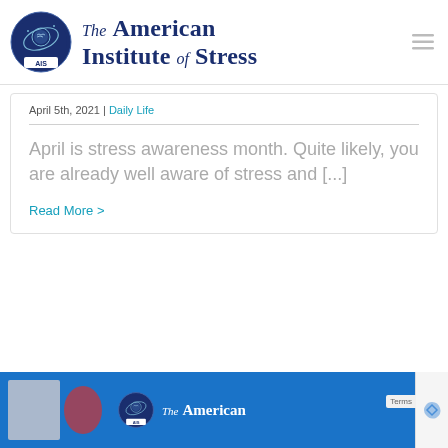The American Institute of Stress
April 5th, 2021 | Daily Life
April is stress awareness month. Quite likely, you are already well aware of stress and [...]
Read More >
[Figure (logo): The American Institute of Stress footer banner with logo]
Terms